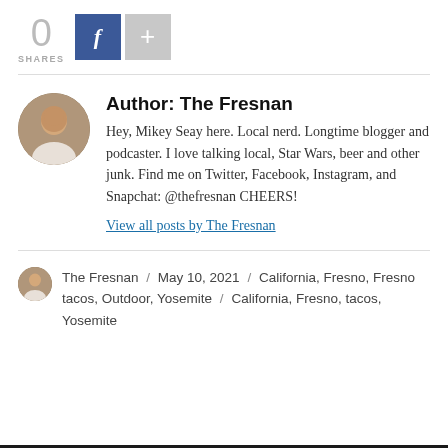[Figure (infographic): Share count showing 0 SHARES with a Facebook button and a + button]
Author: The Fresnan
Hey, Mikey Seay here. Local nerd. Longtime blogger and podcaster. I love talking local, Star Wars, beer and other junk. Find me on Twitter, Facebook, Instagram, and Snapchat: @thefresnan CHEERS!
View all posts by The Fresnan
The Fresnan / May 10, 2021 / California, Fresno, Fresno tacos, Outdoor, Yosemite / California, Fresno, tacos, Yosemite